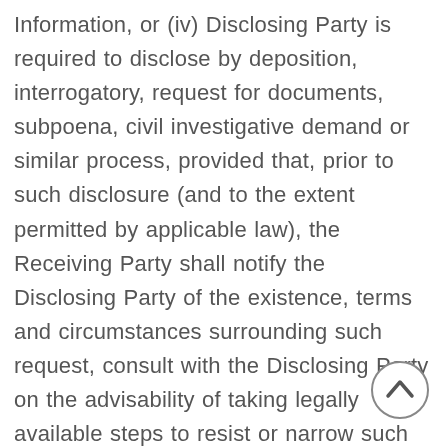Information, or (iv) Disclosing Party is required to disclose by deposition, interrogatory, request for documents, subpoena, civil investigative demand or similar process, provided that, prior to such disclosure (and to the extent permitted by applicable law), the Receiving Party shall notify the Disclosing Party of the existence, terms and circumstances surrounding such request, consult with the Disclosing Party on the advisability of taking legally available steps to resist or narrow such request, and reasonably assist the Disclosing Party, at the Disclosing Party's expense, in seeking a protective order or other appropriate remedy. Except as otherwise expressly per... in this Article 5, Confidential